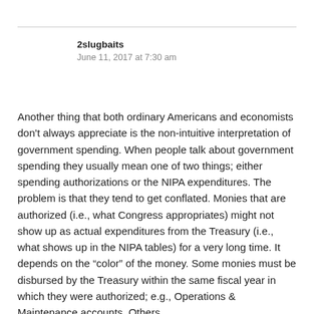2slugbaits
June 11, 2017 at 7:30 am
Another thing that both ordinary Americans and economists don't always appreciate is the non-intuitive interpretation of government spending. When people talk about government spending they usually mean one of two things; either spending authorizations or the NIPA expenditures. The problem is that they tend to get conflated. Monies that are authorized (i.e., what Congress appropriates) might not show up as actual expenditures from the Treasury (i.e., what shows up in the NIPA tables) for a very long time. It depends on the “color” of the money. Some monies must be disbursed by the Treasury within the same fiscal year in which they were authorized; e.g., Operations & Maintenance accounts. Others